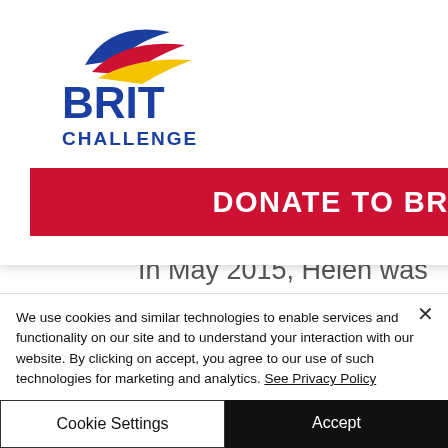[Figure (logo): Brit Challenge logo with stylized flag swoosh above bold text BRIT CHALLENGE]
[Figure (other): Hamburger menu icon (three horizontal lines) in a rounded square button]
ult
ghout
[Figure (other): Red donate button with white bold text DONATE TO BRIT]
In May 2015, Helen was part of the female team, Yorkshire Rows, who were the first women to row across the North Sea to Holland. In December 2015, she rowed across the Atlantic as part of the renowned
We use cookies and similar technologies to enable services and functionality on our site and to understand your interaction with our website. By clicking on accept, you agree to our use of such technologies for marketing and analytics. See Privacy Policy
Cookie Settings
Accept